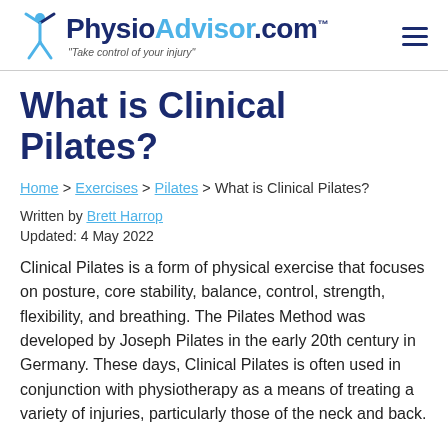PhysioAdvisor.com - "Take control of your injury"
What is Clinical Pilates?
Home > Exercises > Pilates > What is Clinical Pilates?
Written by Brett Harrop
Updated: 4 May 2022
Clinical Pilates is a form of physical exercise that focuses on posture, core stability, balance, control, strength, flexibility, and breathing. The Pilates Method was developed by Joseph Pilates in the early 20th century in Germany. These days, Clinical Pilates is often used in conjunction with physiotherapy as a means of treating a variety of injuries, particularly those of the neck and back.